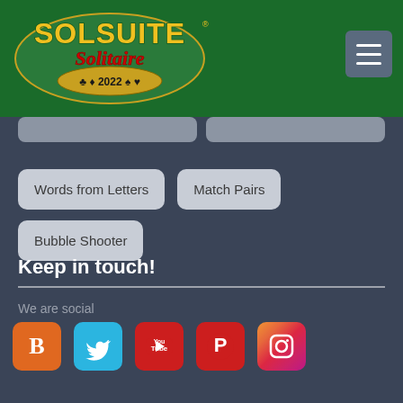[Figure (logo): SolSuite Solitaire 2022 logo with green background, gold lettering, card suit symbols]
Words from Letters
Match Pairs
Bubble Shooter
Keep in touch!
We are social
[Figure (infographic): Social media icons row: Blogger (orange), Twitter (cyan), YouTube (red), Pinterest (red), Instagram (gradient)]